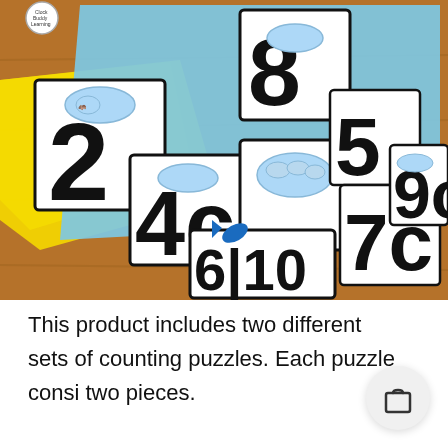[Figure (photo): A photograph of counting puzzle pieces laid out on a wooden surface and blue mat. The puzzle pieces show large printed numbers (2, 4c, 8, 5, 7c, 9c, 6, 10) and illustrated images of animals/objects for counting. A small blue toy fish is visible among the pieces. A yellow puzzle board is visible on the left edge. A small logo for 'Clock Buddy Learning' appears on one piece.]
This product includes two different sets of counting puzzles. Each puzzle consi two pieces.